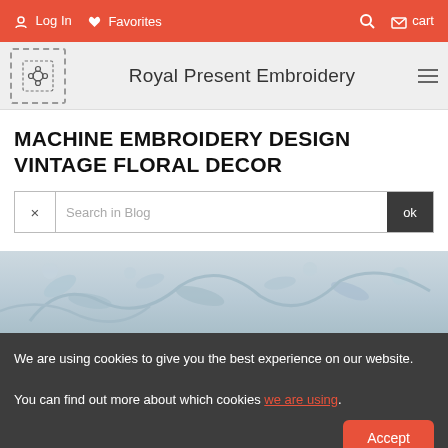Log In  Favorites  [search icon]  cart
Royal Present Embroidery
MACHINE EMBROIDERY DESIGN VINTAGE FLORAL DECOR
Search in Blog
[Figure (photo): Close-up photo of vintage floral embroidery design with curling leaves and flower buds on a light blue-grey fabric background]
We are using cookies to give you the best experience on our website.

You can find out more about which cookies we are using.
Accept